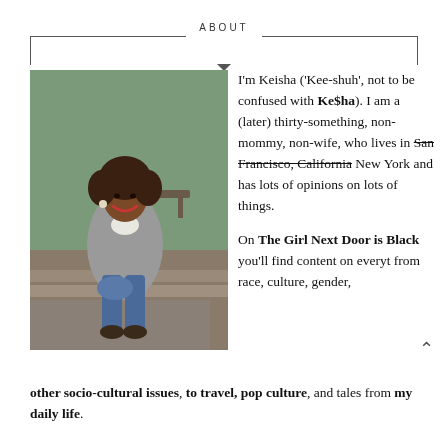ABOUT
[Figure (photo): Woman with natural hair sitting on stone steps outdoors, wearing a grey coat and blue jeans, smiling]
I'm Keisha ('Kee-shuh', not to be confused with Ke$ha). I am a (later) thirty-something, non-mommy, non-wife, who lives in San Francisco, California New York and has lots of opinions on lots of things.

On The Girl Next Door is Black you'll find content on everyt from race, culture, gender, other socio-cultural issues, to travel, pop culture, and tales from my daily life.